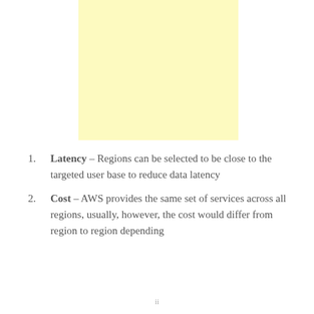[Figure (other): Yellow/cream colored rectangle placeholder image or diagram area]
Latency – Regions can be selected to be close to the targeted user base to reduce data latency
Cost – AWS provides the same set of services across all regions, usually, however, the cost would differ from region to region depending
ii